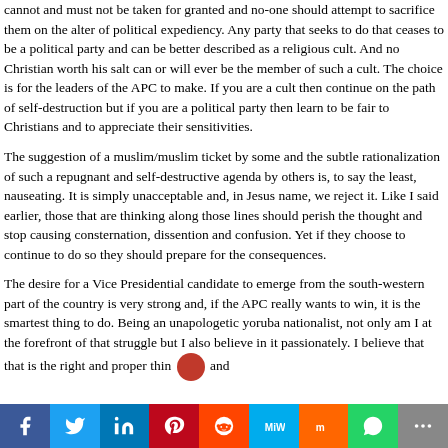cannot and must not be taken for granted and no-one should attempt to sacrifice them on the alter of political expediency. Any party that seeks to do that ceases to be a political party and can be better described as a religious cult. And no Christian worth his salt can or will ever be the member of such a cult. The choice is for the leaders of the APC to make. If you are a cult then continue on the path of self-destruction but if you are a political party then learn to be fair to Christians and to appreciate their sensitivities.
The suggestion of a muslim/muslim ticket by some and the subtle rationalization of such a repugnant and self-destructive agenda by others is, to say the least, nauseating. It is simply unacceptable and, in Jesus name, we reject it. Like I said earlier, those that are thinking along those lines should perish the thought and stop causing consternation, dissention and confusion. Yet if they choose to continue to do so they should prepare for the consequences.
The desire for a Vice Presidential candidate to emerge from the south-western part of the country is very strong and, if the APC really wants to win, it is the smartest thing to do. Being an unapologetic yoruba nationalist, not only am I at the forefront of that struggle but I also believe in it passionately. I believe that that is the right and proper thin... and